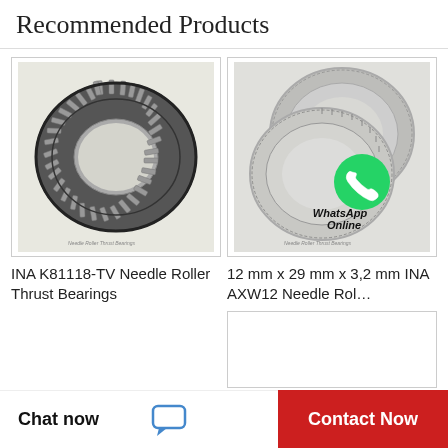Recommended Products
[Figure (photo): INA K81118-TV needle roller thrust bearing – flat ring-shaped bearing with needle rollers arranged in a circle, dark metallic color]
INA K81118-TV Needle Roller Thrust Bearings
[Figure (photo): 12 mm x 29 mm x 3,2 mm INA AXW12 needle roller thrust bearing – two overlapping silver/chrome colored rings with needle rollers, with WhatsApp Online overlay graphic]
12 mm x 29 mm x 3,2 mm INA AXW12 Needle Rol…
[Figure (photo): Partial view of a third product image, mostly white/empty]
Chat now
Contact Now